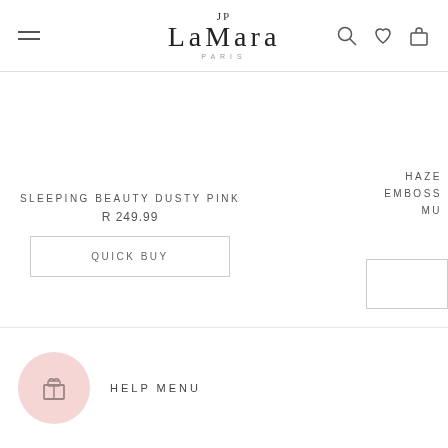[Figure (logo): LaMara Paris logo with JP monogram above, serif font, with PARIS text below in small caps]
SLEEPING BEAUTY DUSTY PINK
R 249.99
QUICK BUY
HAZE EMBOSS MU
HELP MENU